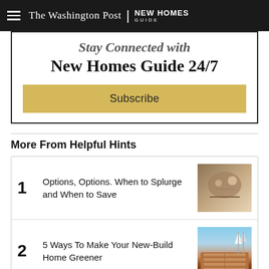The Washington Post | NEW HOMES GUIDE
Stay Connected with New Homes Guide 24/7
Subscribe
More From Helpful Hints
1 Options, Options. When to Splurge and When to Save
2 5 Ways To Make Your New-Build Home Greener